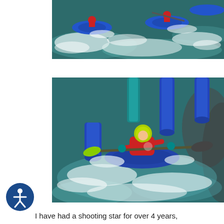[Figure (photo): Close-up photo of kayakers in white water rapids, blue kayaks visible with churning white water and dark teal river.]
[Figure (photo): Photo of a kayaker in a blue kayak wearing a yellow-green helmet and red jacket, paddling through white water rapids with blue slalom poles in the background.]
I have had a shooting star for over 4 years,